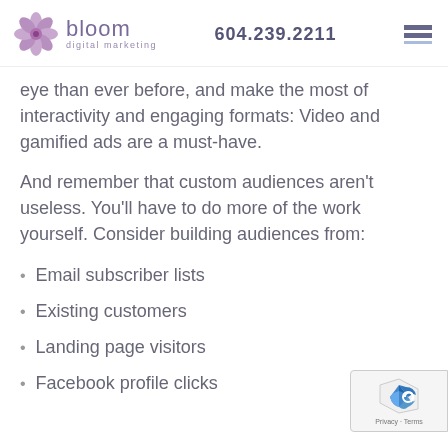bloom digital marketing | 604.239.2211
eye than ever before, and make the most of interactivity and engaging formats: Video and gamified ads are a must-have.
And remember that custom audiences aren’t useless. You’ll have to do more of the work yourself. Consider building audiences from:
Email subscriber lists
Existing customers
Landing page visitors
Facebook profile clicks